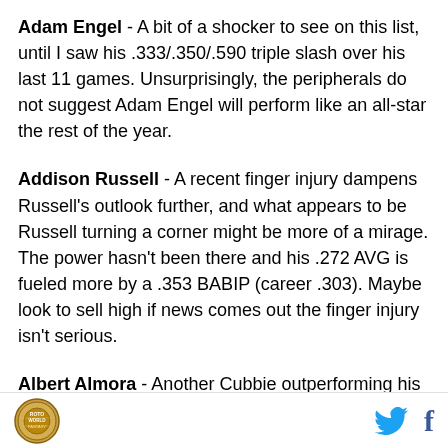Adam Engel - A bit of a shocker to see on this list, until I saw his .333/.350/.590 triple slash over his last 11 games. Unsurprisingly, the peripherals do not suggest Adam Engel will perform like an all-star the rest of the year.
Addison Russell - A recent finger injury dampens Russell's outlook further, and what appears to be Russell turning a corner might be more of a mirage. The power hasn't been there and his .272 AVG is fueled more by a .353 BABIP (career .303). Maybe look to sell high if news comes out the finger injury isn't serious.
Albert Almora - Another Cubbie outperforming his